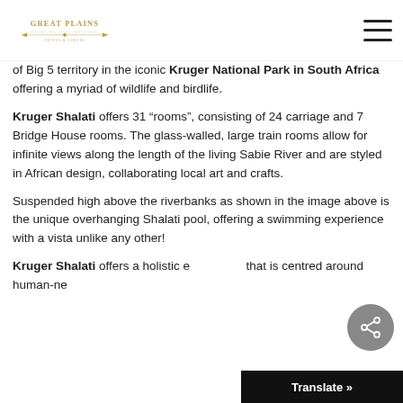Great Plains Conservation
of Big 5 territory in the iconic Kruger National Park in South Africa offering a myriad of wildlife and birdlife.
Kruger Shalati offers 31 “rooms”, consisting of 24 carriage and 7 Bridge House rooms. The glass-walled, large train rooms allow for infinite views along the length of the living Sabie River and are styled in African design, collaborating local art and crafts.
Suspended high above the riverbanks as shown in the image above is the unique overhanging Shalati pool, offering a swimming experience with a vista unlike any other!
Kruger Shalati offers a holistic experience that is centred around human-ne...